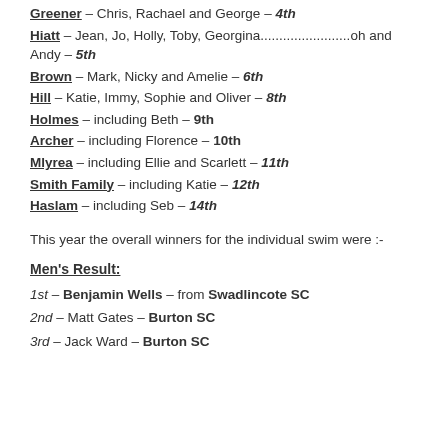Greener – Chris, Rachael and George – 4th
Hiatt – Jean, Jo, Holly, Toby, Georgina........................oh and Andy – 5th
Brown – Mark, Nicky and Amelie – 6th
Hill – Katie, Immy, Sophie and Oliver – 8th
Holmes – including Beth – 9th
Archer – including Florence – 10th
Mlyrea – including Ellie and Scarlett – 11th
Smith Family – including Katie – 12th
Haslam – including Seb – 14th
This year the overall winners for the individual swim were :-
Men's Result:
1st – Benjamin Wells – from Swadlincote SC
2nd – Matt Gates – Burton SC
3rd – Jack Ward – Burton SC